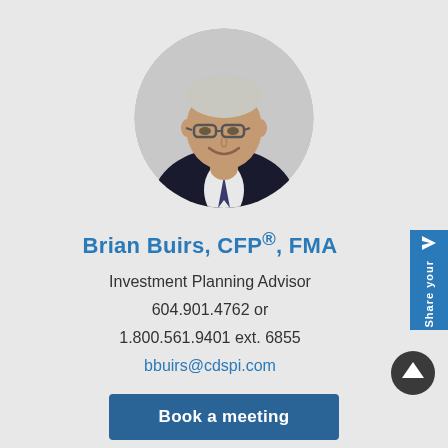[Figure (photo): Circular profile photo of Brian Buirs, a middle-aged man with gray-white hair wearing glasses and a dark suit with tie, smiling]
Brian Buirs, CFP®, FMA
Investment Planning Advisor
604.901.4762 or
1.800.561.9401 ext. 6855
bbuirs@cdspi.com
Book a meeting